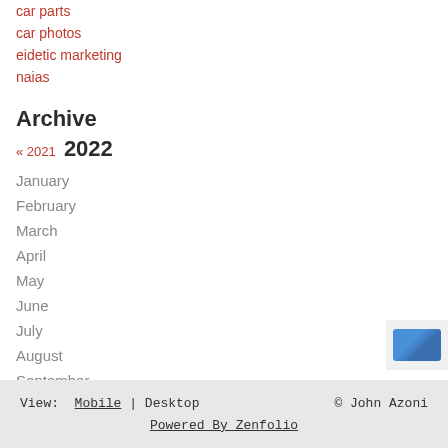car parts
car photos
eidetic marketing
naias
Archive
« 2021  2022
January
February
March
April
May
June
July
August
September
View: Mobile | Desktop   © John Azoni   Powered By Zenfolio